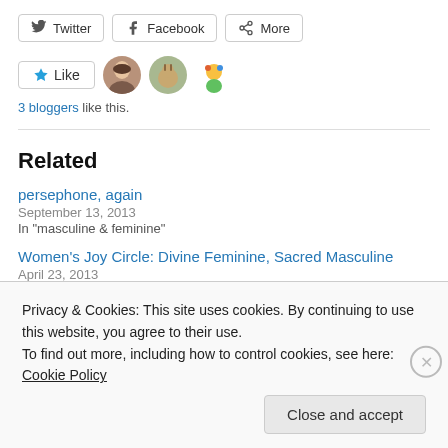[Figure (other): Social share buttons: Twitter, Facebook, More]
[Figure (other): Like button with 3 blogger avatars]
3 bloggers like this.
Related
persephone, again
September 13, 2013
In "masculine & feminine"
Women's Joy Circle: Divine Feminine, Sacred Masculine
April 23, 2013
Privacy & Cookies: This site uses cookies. By continuing to use this website, you agree to their use.
To find out more, including how to control cookies, see here: Cookie Policy